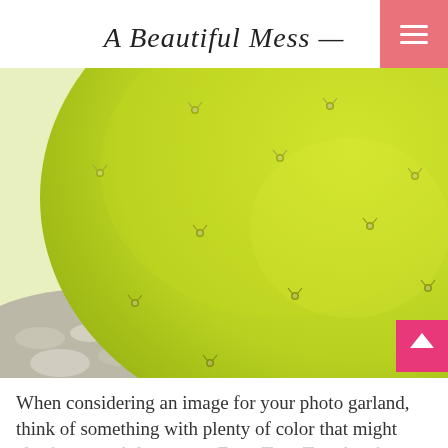A Beautiful Mess
[Figure (photo): Close-up macro photograph of a bright neon yellow-green prickly pear cactus pad with small spines/areoles scattered across its surface. Background shows blurred gravel/rocks at the bottom left.]
When considering an image for your photo garland, think of something with plenty of color that might also have a subtle pattern. For a Taco Tuesday theme, this zoomed in shot of a cactus without